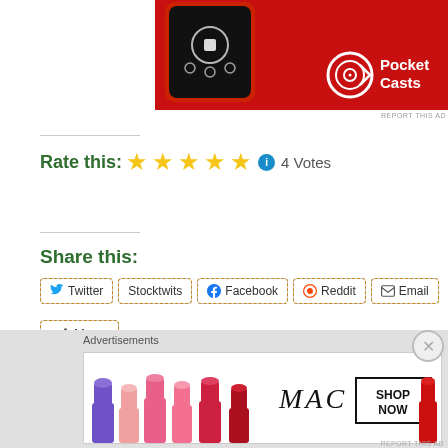[Figure (screenshot): Pocket Casts app advertisement banner showing a smartphone with playback controls on a red background with the Pocket Casts logo and name]
REPORT THIS AD
Rate this: ★★★★★ ℹ 4 Votes
Share this:
Twitter
Stocktwits
Facebook
Reddit
Email
More
Like
One blogger likes this.
Advertisements
[Figure (photo): MAC cosmetics advertisement showing colorful lipsticks with MAC brand name and SHOP NOW call to action button]